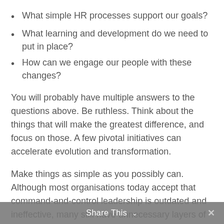What simple HR processes support our goals?
What learning and development do we need to put in place?
How can we engage our people with these changes?
You will probably have multiple answers to the questions above. Be ruthless. Think about the things that will make the greatest difference, and focus on those. A few pivotal initiatives can accelerate evolution and transformation.
Make things as simple as you possibly can. Although most organisations today accept that command-and-control leadership is outdated and ineffective, many still have unnecessary layers of hierarchy and bureaucracy.
Share This